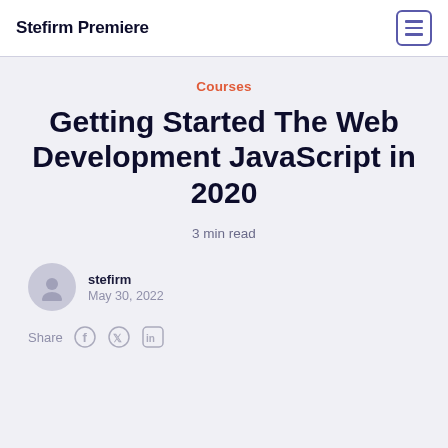Stefirm Premiere
Courses
Getting Started The Web Development JavaScript in 2020
3 min read
stefirm
May 30, 2022
Share